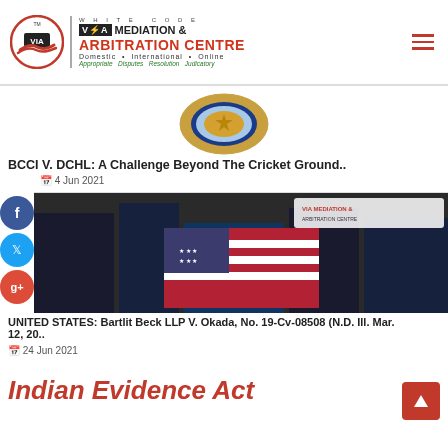[Figure (logo): White Code VIA Mediation & Arbitration Centre logo with red handshake icon and text]
[Figure (logo): BCCI (Board of Control for Cricket in India) circular logo with blue and gold star emblem]
BCCI V. DCHL: A Challenge Beyond The Cricket Ground..
4 Jun 2021
[Figure (photo): Photo of a building with large American flag draped on facade, with VIA Mediation & Arbitration Centre watermark overlay]
UNITED STATES: Bartlit Beck LLP V. Okada, No. 19-Cv-08508 (N.D. Ill. Mar. 12, 20..
24 Jun 2021
Indian Evidence Act